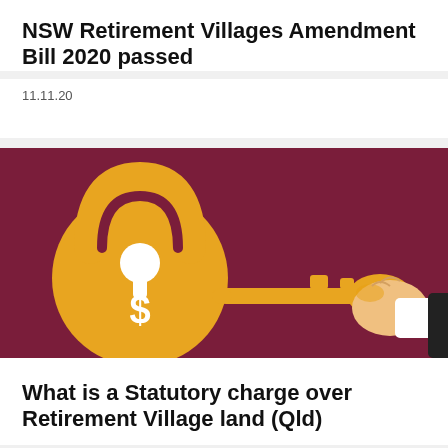NSW Retirement Villages Amendment Bill 2020 passed
11.11.20
[Figure (illustration): Illustration of a golden padlock with a dollar sign and a hand holding a golden key on a dark red/maroon background.]
What is a Statutory charge over Retirement Village land (Qld)